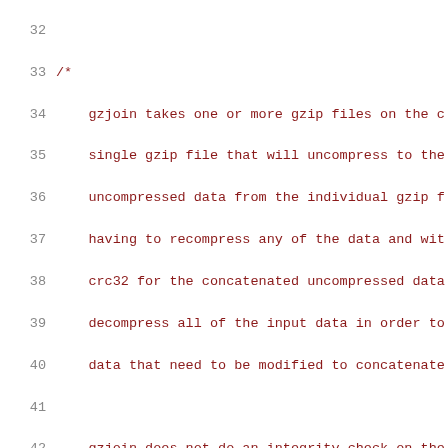Source code listing lines 32-52 of gzjoin.c, showing comment block explaining gzjoin functionality